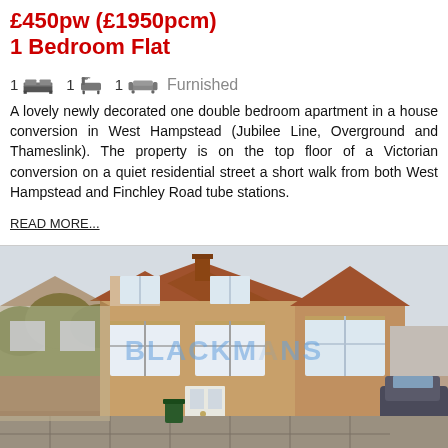£450pw (£1950pcm)
1 Bedroom Flat
1 [bed icon] 1 [bath icon] 1 [sofa icon] Furnished
A lovely newly decorated one double bedroom apartment in a house conversion in West Hampstead (Jubilee Line, Overground and Thameslink). The property is on the top floor of a Victorian conversion on a quiet residential street a short walk from both West Hampstead and Finchley Road tube stations.
READ MORE...
[Figure (photo): Exterior photo of a semi-detached Victorian/Edwardian style brick house with white bay windows, green hedge on left, stone paved driveway, with a Blackmans estate agent watermark overlay.]